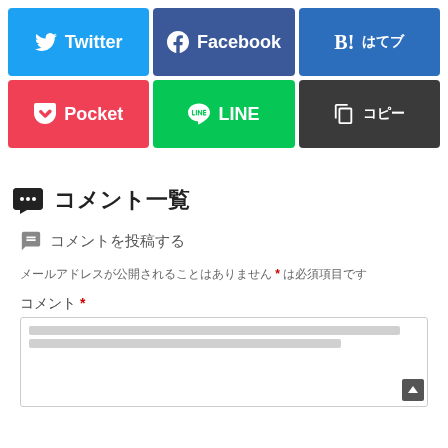[Figure (other): Social share buttons: Twitter (blue), Facebook (dark blue), B! はてなブックマーク (blue), Pocket (red), LINE (green), コピー (dark gray)]
コメント一覧
コメントを投稿する
メールアドレスが公開されることはありません * は必須項目です
コメント *